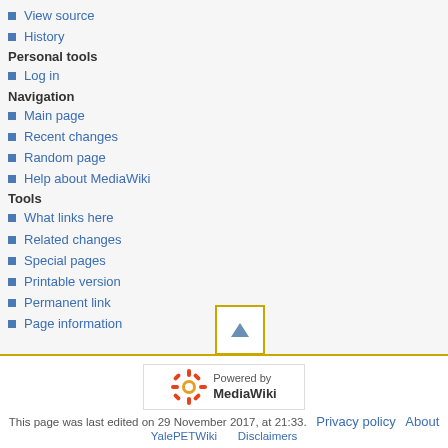View source
History
Personal tools
Log in
Navigation
Main page
Recent changes
Random page
Help about MediaWiki
Tools
What links here
Related changes
Special pages
Printable version
Permanent link
Page information
[Figure (other): Scroll to top button with upward triangle arrow]
[Figure (logo): Powered by MediaWiki badge with gear/flower icon]
This page was last edited on 29 November 2017, at 21:33.   Privacy policy   About YalePETWiki   Disclaimers